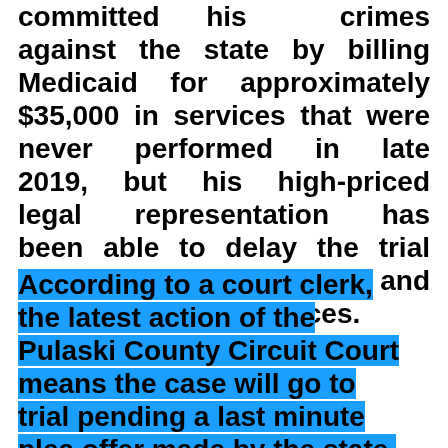committed his crimes against the state by billing Medicaid for approximately $35,000 in services that were never performed in late 2019, but his high-priced legal representation has been able to delay the trial with various filings and request for continuances.
According to a court clerk, the latest action of the Pulaski County Circuit Court means the case will go to trial pending a last minute plea offer made by the state. Christoper faces one count